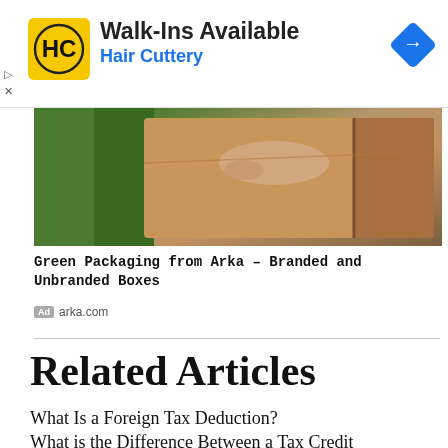[Figure (advertisement): Hair Cuttery advertisement banner with HC logo, Walk-Ins Available headline, navigation arrow icon]
[Figure (photo): Person in green shirt holding a cardboard box, green packaging advertisement photo]
Green Packaging from Arka – Branded and Unbranded Boxes
Ad arka.com
Related Articles
What Is a Foreign Tax Deduction?
What is the Difference Between a Tax Credit